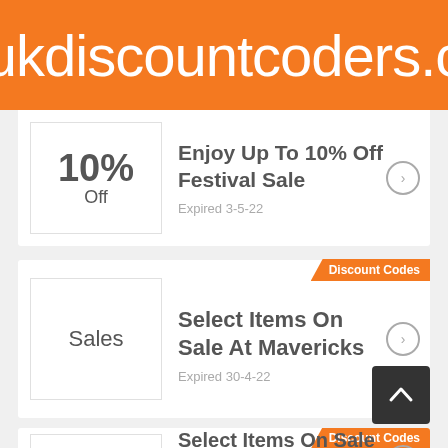ukdiscountcoders.c
10% Off — Enjoy Up To 10% Off Festival Sale — Expired 3-5-22
Discount Codes — Select Items On Sale At Mavericks — Expired 30-4-22
Discount Codes — Select Items On Sale At Mavericks